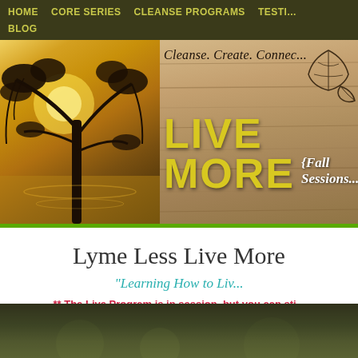HOME  CORE SERIES  CLEANSE PROGRAMS  TESTI...  BLOG
[Figure (photo): Banner image: left side shows a tree silhouette with golden sunset over water; right side shows a weathered wood background with text 'Cleanse. Create. Connec...' in script, and large yellow bold 'LIVE MORE' text with '{Fall Sessions' in white italic, and decorative leaf illustrations.]
Lyme Less Live More
"Learning How to Liv...
** The Live Program is in session, but you can sti...
[Figure (photo): Bottom partial image strip showing a dark green and brown outdoor scene.]